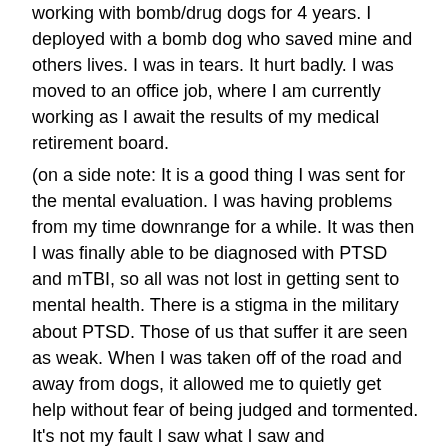working with bomb/drug dogs for 4 years. I deployed with a bomb dog who saved mine and others lives. I was in tears. It hurt badly. I was moved to an office job, where I am currently working as I await the results of my medical retirement board. (on a side note: It is a good thing I was sent for the mental evaluation. I was having problems from my time downrange for a while. It was then I was finally able to be diagnosed with PTSD and mTBI, so all was not lost in getting sent to mental health. There is a stigma in the military about PTSD. Those of us that suffer it are seen as weak. When I was taken off of the road and away from dogs, it allowed me to quietly get help without fear of being judged and tormented. It's not my fault I saw what I saw and experienced what I experienced. To be judged and viewed as weak by my own brethren was painful.)